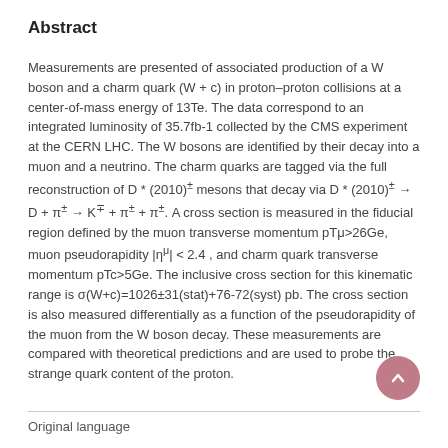Abstract
Measurements are presented of associated production of a W boson and a charm quark (W + c) in proton–proton collisions at a center-of-mass energy of 13Te. The data correspond to an integrated luminosity of 35.7fb-1 collected by the CMS experiment at the CERN LHC. The W bosons are identified by their decay into a muon and a neutrino. The charm quarks are tagged via the full reconstruction of D * (2010) ± mesons that decay via D * (2010) ± → D + π ± → K ∓ + π ± + π ±. A cross section is measured in the fiducial region defined by the muon transverse momentum pTμ>26Ge, muon pseudorapidity |η μ| < 2.4, and charm quark transverse momentum pTc>5Ge. The inclusive cross section for this kinematic range is σ(W+c)=1026±31(stat)+76-72(syst) pb. The cross section is also measured differentially as a function of the pseudorapidity of the muon from the W boson decay. These measurements are compared with theoretical predictions and are used to probe the strange quark content of the proton.
Original language